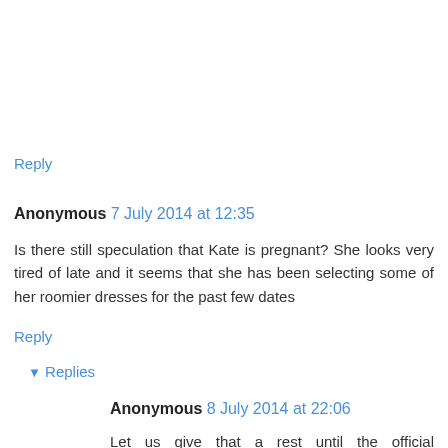Reply
Anonymous 7 July 2014 at 12:35
Is there still speculation that Kate is pregnant? She looks very tired of late and it seems that she has been selecting some of her roomier dresses for the past few dates
Reply
▾ Replies
Anonymous 8 July 2014 at 22:06
Let us give that a rest until the official announcement comes from the Palace. Poor